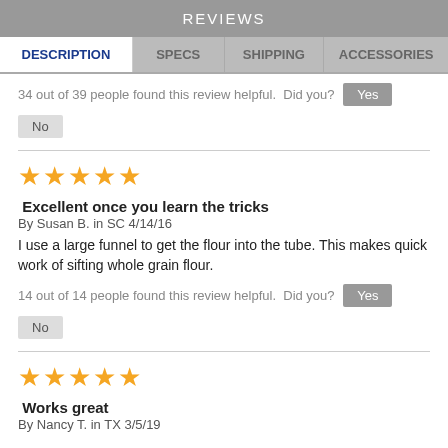REVIEWS
DESCRIPTION | SPECS | SHIPPING | ACCESSORIES
34 out of 39 people found this review helpful.  Did you?  Yes  No
★★★★★
Excellent once you learn the tricks
By Susan B. in SC 4/14/16
I use a large funnel to get the flour into the tube. This makes quick work of sifting whole grain flour.
14 out of 14 people found this review helpful.  Did you?  Yes  No
★★★★★
Works great
By Nancy T. in TX 3/5/19